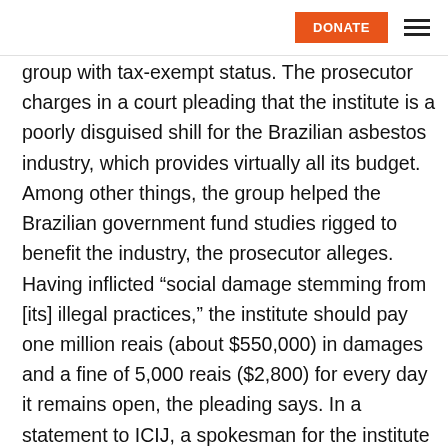DONATE
group with tax-exempt status. The prosecutor charges in a court pleading that the institute is a poorly disguised shill for the Brazilian asbestos industry, which provides virtually all its budget. Among other things, the group helped the Brazilian government fund studies rigged to benefit the industry, the prosecutor alleges. Having inflicted “social damage stemming from [its] illegal practices,” the institute should pay one million reais (about $550,000) in damages and a fine of 5,000 reais ($2,800) for every day it remains open, the pleading says. In a statement to ICIJ, a spokesman for the institute denied the allegations...